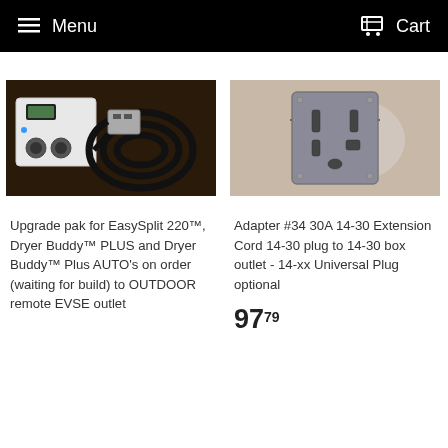Menu   Cart
[Figure (photo): Upgrade pak for EasySplit 220 device with cable and remote EVSE outlet components on dark background]
[Figure (photo): Adapter #34 30A 14-30 Extension Cord adapter plug, grey rectangular electrical outlet adapter on light background]
Upgrade pak for EasySplit 220™, Dryer Buddy™ PLUS and Dryer Buddy™ Plus AUTO's on order (waiting for build) to OUTDOOR remote EVSE outlet
Adapter #34 30A 14-30 Extension Cord 14-30 plug to 14-30 box outlet - 14-xx Universal Plug optional
97⁷⁹